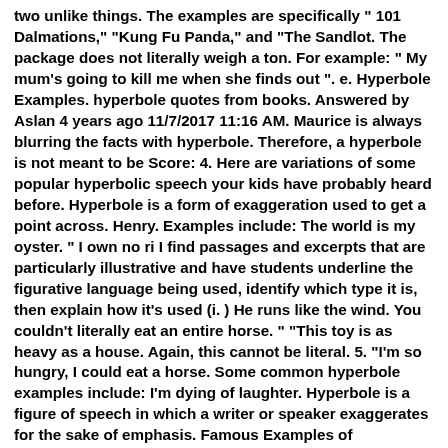two unlike things. The examples are specifically " 101 Dalmations," "Kung Fu Panda," and "The Sandlot. The package does not literally weigh a ton. For example: " My mum's going to kill me when she finds out ". e. Hyperbole Examples. hyperbole quotes from books. Answered by Aslan 4 years ago 11/7/2017 11:16 AM. Maurice is always blurring the facts with hyperbole. Therefore, a hyperbole is not meant to be Score: 4. Here are variations of some popular hyperbolic speech your kids have probably heard before. Hyperbole is a form of exaggeration used to get a point across. Henry. Examples include: The world is my oyster. " I own no ri I find passages and excerpts that are particularly illustrative and have students underline the figurative language being used, identify which type it is, then explain how it's used (i. ) He runs like the wind. You couldn't literally eat an entire horse. " "This toy is as heavy as a house. Again, this cannot be literal. 5. "I'm so hungry, I could eat a horse. Some common hyperbole examples include: I'm dying of laughter. Hyperbole is a figure of speech in which a writer or speaker exaggerates for the sake of emphasis. Famous Examples of Hyperbole. – Gabriel García Márquez, Living to Tell the Tale. We're more overdue for a hangout than the library book I forgot to return ten years ago. I went home and made the biggest sandwich of all time. I walked a million miles to get here. You can also use this hyperbole when your friend shares too much of her